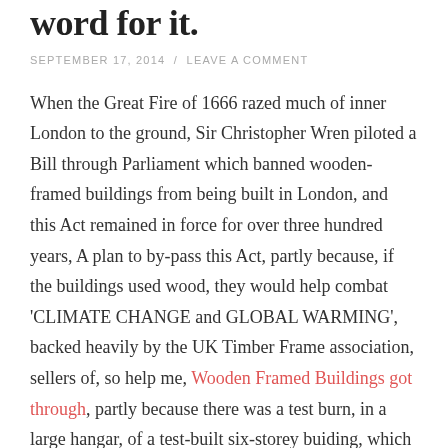word for it.
SEPTEMBER 17, 2014 / LEAVE A COMMENT
When the Great Fire of 1666 razed much of inner London to the ground, Sir Christopher Wren piloted a Bill through Parliament which banned wooden-framed buildings from being built in London, and this Act remained in force for over three hundred years, A plan to by-pass this Act, partly because, if the buildings used wood, they would help combat 'CLIMATE CHANGE and GLOBAL WARMING', backed heavily by the UK Timber Frame association, sellers of, so help me, Wooden Framed Buildings got through, partly because there was a test burn, in a large hangar, of a test-built six-storey buiding, which was easily extinguished by firemen. What was not mentioned, in the building report, was the fact that the fire arose